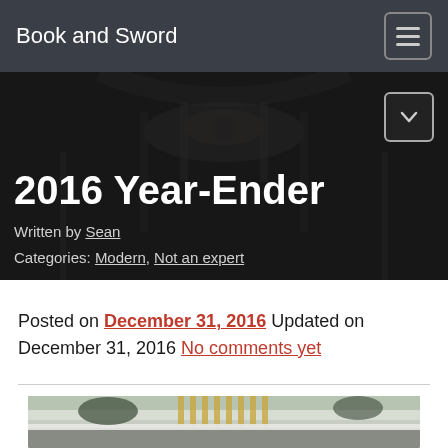Book and Sword
2016 Year-Ender
Written by Sean
Categories: Modern, Not an expert
Posted on December 31, 2016 Updated on December 31, 2016 No comments yet
[Figure (photo): Photograph of a building exterior with snow on a ledge, a yellow gate/window grating visible, trees in background, black and white tones]